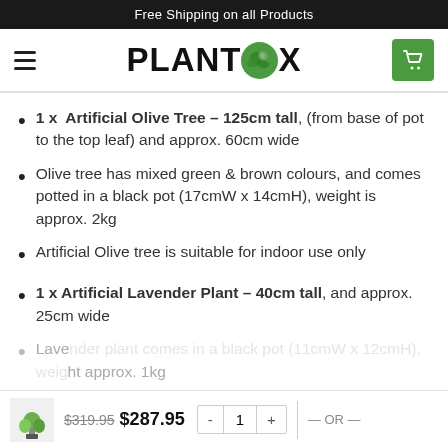Free Shipping on all Products
[Figure (logo): PLANTBOX logo with green circular leaf icon and green shopping cart button]
1 x  Artificial Olive Tree – 125cm tall, (from base of pot to the top leaf) and approx. 60cm wide
Olive tree has mixed green & brown colours, and comes potted in a black pot (17cmW x 14cmH), weight is approx. 2kg
Artificial Olive tree is suitable for indoor use only
1 x Artificial Lavender Plant – 40cm tall, and approx. 25cm wide
Lavender plant comes in a black pot (11cmW x 12cmH), weight approx. 1kg
$319.95  $287.95   - 1 +   — OR —